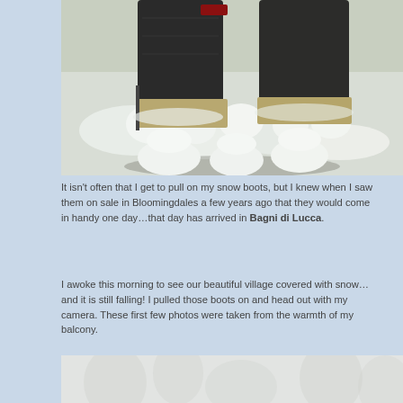[Figure (photo): Close-up photo of dark snow boots surrounded by snowballs and snow on the ground]
It isn't often that I get to pull on my snow boots, but I knew when I saw them on sale in Bloomingdales a few years ago that they would come in handy one day…that day has arrived in Bagni di Lucca.
I awoke this morning to see our beautiful village covered with snow…and it is still falling! I pulled those boots on and head out with my camera. These first few photos were taken from the warmth of my balcony.
[Figure (photo): Snowy village scene with trees and houses barely visible through heavy snowfall and fog]